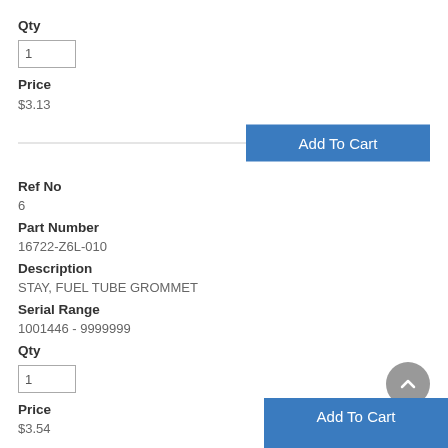Qty
1
Price
$3.13
Add To Cart
Ref No
6
Part Number
16722-Z6L-010
Description
STAY, FUEL TUBE GROMMET
Serial Range
1001446 - 9999999
Qty
1
Price
$3.54
Add To Cart